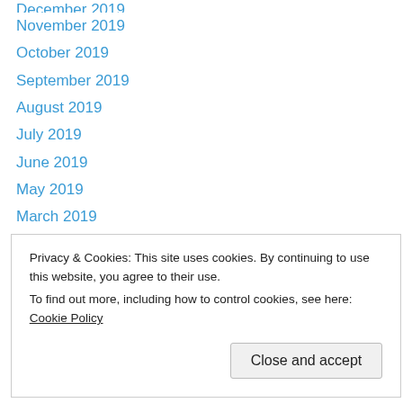December 2019
November 2019
October 2019
September 2019
August 2019
July 2019
June 2019
May 2019
March 2019
February 2019
January 2019
December 2018
November 2018
September 2018 (partial)
Privacy & Cookies: This site uses cookies. By continuing to use this website, you agree to their use.
To find out more, including how to control cookies, see here: Cookie Policy
January 2018